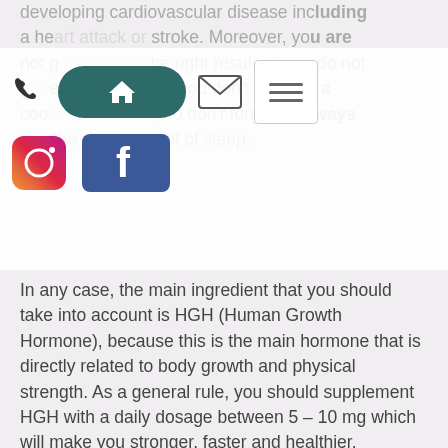developing cardiovascular disease including a heart attack or stroke. Moreover, you are not going to get the right results if you do not get enough sleep. If you don't sleep in a cool environment, do don't forget to always use the right amount of sleep.
[Figure (screenshot): UI overlay with phone icon, home button (teal rounded rectangle), mail icon, hamburger menu icon, Instagram icon, and Facebook button]
In any case, the main ingredient that you should take into account is HGH (Human Growth Hormone), because this is the main hormone that is directly related to body growth and physical strength. As a general rule, you should supplement HGH with a daily dosage between 5 – 10 mg which will make you stronger, faster and healthier.
However, you should follow some basic parameters during supplementation to guarantee the best possible results.
1. Choose a good source of HGH .